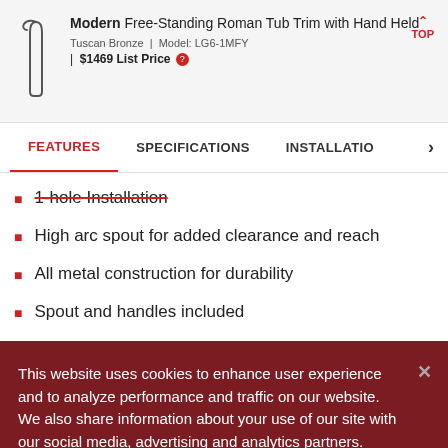Modern Free-Standing Roman Tub Trim with Hand Held
Tuscan Bronze | Model: LG6-1MFY | $1469 List Price
FEATURES | SPECIFICATIONS | INSTALLATION
1-hole Installation
High arc spout for added clearance and reach
All metal construction for durability
Spout and handles included
This website uses cookies to enhance user experience and to analyze performance and traffic on our website. We also share information about your use of our site with our social media, advertising and analytics partners. Cookie Policy
Cookie Settings | Accept Cookies